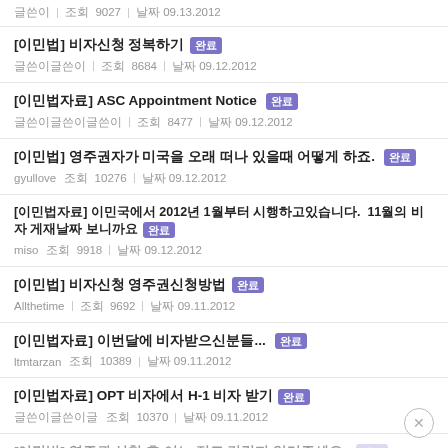[글쓴이] 조회 9027 | 날짜 09.13.2012
[이민법] 비자신청 정복하기 완료 | 글쓴이 | 조회 8684 | 날짜 09.12.2012
[이민법자료] ASC Appointment Notice 완료 | 글쓴이 | 조회 8477 | 날짜 09.12.2012
[이민법] 영주권자가 미국을 오래 떠나 있을때 어떻게. 완료 | gyullove | 조회 10276 | 날짜 09.12.2012
[이민법자료] 이민국에서 2012년 1월부터 시행하고있습니다. 11월의 영주권 게재 날짜를보니까요 완료 | miso | 조회 9918 | 날짜 09.12.2012
[이민법] 비자신청 영주권신청방법 완료 | Allthetime | 조회 9692 | 날짜 09.11.2012
[이민법자료] 이번달에 비자받으신분들... 완료 | ltmtarzan | 조회 10389 | 날짜 09.11.2012
[이민법자료] OPT 비자에서 H-1 비자 받기 완료 | 글쓴이 | 조회 10370 | 날짜 09.11.2012
[이민법] 영주권 신청 후 어느 정도 걸릴지 알려주세요. 완료 | 글쓴이 | 조회 | 날짜 09.11.2012